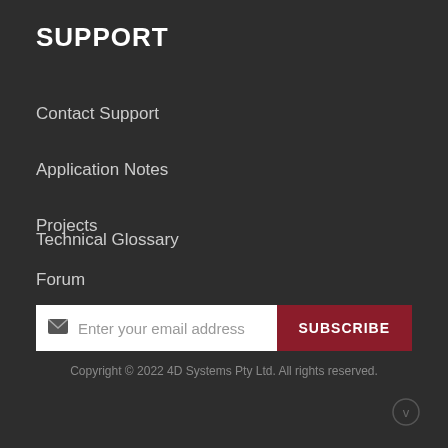SUPPORT
Contact Support
Application Notes
Projects
Forum
Technical Glossary
Enter your email address  SUBSCRIBE
Copyright © 2022 4D Systems Pty Ltd. All rights reserved.